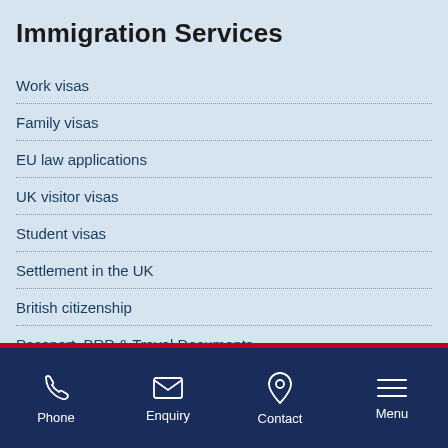Immigration Services
Work visas
Family visas
EU law applications
UK visitor visas
Student visas
Settlement in the UK
British citizenship
Passport, BRP & Travel Documents
Appeals
Phone | Enquiry | Contact | Menu